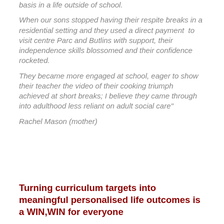basis in a life outside of school.
When our sons stopped having their respite breaks in a residential setting and they used a direct payment to visit centre Parc and Butlins with support, their independence skills blossomed and their confidence rocketed.
They became more engaged at school, eager to show their teacher the video of their cooking triumph achieved at short breaks; I believe they came through into adulthood less reliant on adult social care"
Rachel Mason (mother)
Turning curriculum targets into meaningful personalised life outcomes is a WIN,WIN for everyone